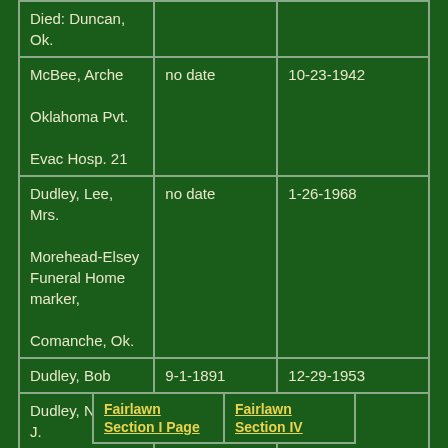| Name / Notes | Birth Date | Death Date |
| --- | --- | --- |
| Died: Duncan, Ok. |  |  |
| McBee, Arche

Oklahoma Pvt.

Evac Hosp. 21 | no date | 10-23-1942 |
| Dudley, Lee, Mrs.

Morehead-Elsey Funeral Home marker,

Comanche, Ok. | no date | 1-26-1968 |
| Dudley, Bob | 9-1-1891 | 12-29-1953 |
| Dudley, Norma J. | 6-6-1933 | 7-28-1946 |
Fairlawn Section I Page | Fairlawn Section IV